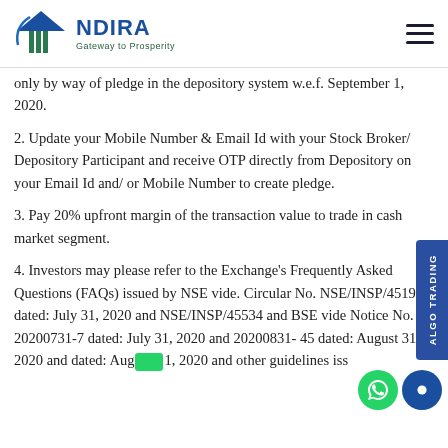INDIRA — Gateway to Prosperity
only by way of pledge in the depository system w.e.f. September 1, 2020.
2. Update your Mobile Number & Email Id with your Stock Broker/ Depository Participant and receive OTP directly from Depository on your Email Id and/ or Mobile Number to create pledge.
3. Pay 20% upfront margin of the transaction value to trade in cash market segment.
4. Investors may please refer to the Exchange's Frequently Asked Questions (FAQs) issued by NSE vide. Circular No. NSE/INSP/45191 dated: July 31, 2020 and NSE/INSP/45534 and BSE vide Notice No. 20200731-7 dated: July 31, 2020 and 20200831- 45 dated: August 31, 2020 and dated: August 1, 2020 and other guidelines issued by the exchanges.